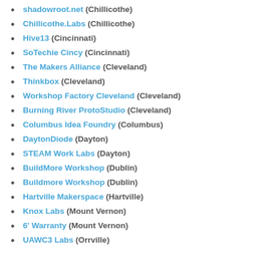shadowroot.net (Chillicothe)
Chillicothe.Labs (Chillicothe)
Hive13 (Cincinnati)
SoTechie Cincy (Cincinnati)
The Makers Alliance (Cleveland)
Thinkbox (Cleveland)
Workshop Factory Cleveland (Cleveland)
Burning River ProtoStudio (Cleveland)
Columbus Idea Foundry (Columbus)
DaytonDiode (Dayton)
STEAM Work Labs (Dayton)
BuildMore Workshop (Dublin)
Buildmore Workshop (Dublin)
Hartville Makerspace (Hartville)
Knox Labs (Mount Vernon)
6' Warranty (Mount Vernon)
UAWC3 Labs (Orrville)